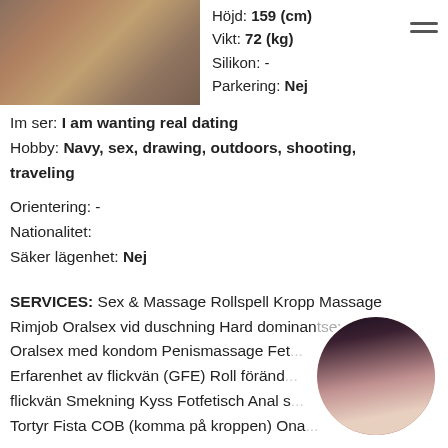[Figure (photo): Woman in floral dress, partial view]
Höjd: 159 (cm)
Vikt: 72 (kg)
Silikon: -
Parkering: Nej
Im ser: I am wanting real dating
Hobby: Navy, sex, drawing, outdoors, shooting, traveling
Orientering: -
Nationalitet:
Säker lägenhet: Nej
SERVICES: Sex & Massage Rollspell Kropp Massage Rimjob Oralsex vid duschning Hard dominantsex Oralsex med kondom Penismassage Fet... Erfarenhet av flickvän (GFE) Roll förän... flickvän Smekning Kyss Fotfetisch Anal s... Tortyr Fista COB (komma på kroppen) Ona...
[Figure (photo): Circular thumbnail photo of dark-haired woman]